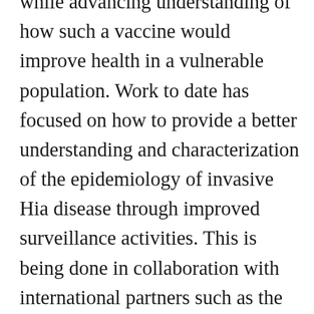while advancing understanding of how such a vaccine would improve health in a vulnerable population. Work to date has focused on how to provide a better understanding and characterization of the epidemiology of invasive Hia disease through improved surveillance activities. This is being done in collaboration with international partners such as the CDC and the Pan American Health Organization (PAHO). Additionally, on the laboratory side, this work will provide a proof of concept that capsular polysaccharide from Hia can be purified and conjugated to a carrier protein